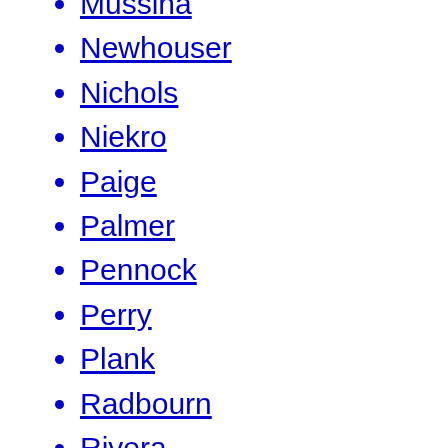Mussina
Newhouser
Nichols
Niekro
Paige
Palmer
Pennock
Perry
Plank
Radbourn
Rivera
Rixey
Roberts
Rogan
Ruffing
Rusie
Ryan
Seaver
H. Smith
L. Smith
Smoltz
Spahn
Sutter
Sutton
Vance
Waddell